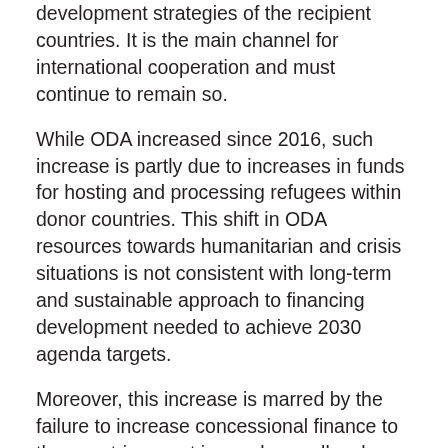development strategies of the recipient countries. It is the main channel for international cooperation and must continue to remain so.
While ODA increased since 2016, such increase is partly due to increases in funds for hosting and processing refugees within donor countries. This shift in ODA resources towards humanitarian and crisis situations is not consistent with long-term and sustainable approach to financing development needed to achieve 2030 agenda targets.
Moreover, this increase is marred by the failure to increase concessional finance to the countries most in need as well as by the decline in the share of ODA to country programmable aid. We call upon developed countries to fulfill their commitments they have made as to ODA by achieving UN target of 0.7 per cent of their gross national income.
We reaffirm that South-South cooperation is a collective